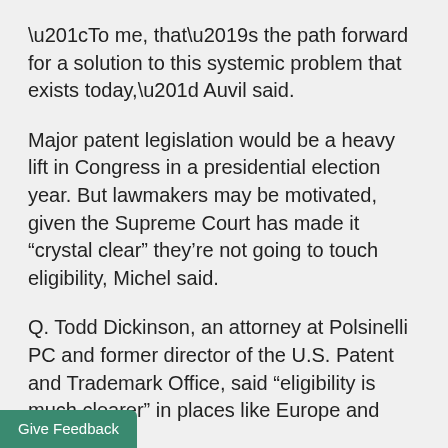“To me, that’s the path forward for a solution to this systemic problem that exists today,” Auvil said.
Major patent legislation would be a heavy lift in Congress in a presidential election year. But lawmakers may be motivated, given the Supreme Court has made it “crystal clear” they’re not going to touch eligibility, Michel said.
Q. Todd Dickinson, an attorney at Polsinelli PC and former director of the U.S. Patent and Trademark Office, said “eligibility is much clearer” in places like Europe and China.
The uncertainty over medical diagnostic patents in particular may prod Congress to act, Eliot Williams, an attorney at Baker Botts LLP whose practice includes IP litigation and management, said.
Give Feedback